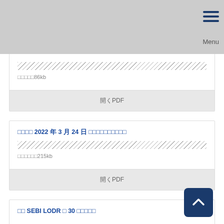Menu
□□□□□86kb
開くPDF
□□□□ 2022 年 3 月 24 日 □□□□□□□□□□
□□□□□□215kb
開くPDF
□□ SEBI LODR □ 30 □□□□□